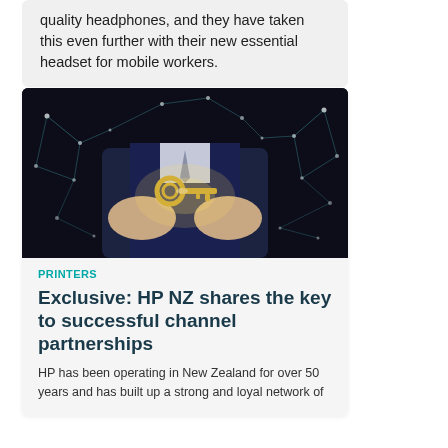quality headphones, and they have taken this even further with their new essential headset for mobile workers.
[Figure (photo): Person in dark suit holding hands out with a glowing golden key hovering above, surrounded by digital network connection dots and lines on a dark background]
PRINTERS
Exclusive: HP NZ shares the key to successful channel partnerships
HP has been operating in New Zealand for over 50 years and has built up a strong and loyal network of